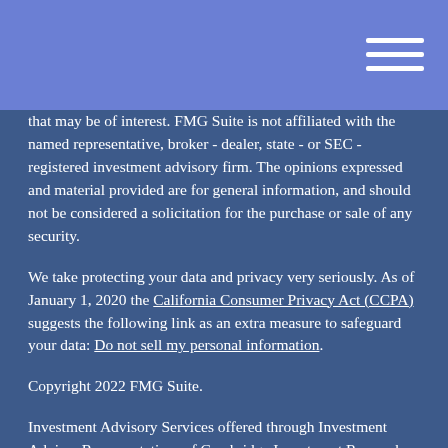that may be of interest. FMG Suite is not affiliated with the named representative, broker - dealer, state - or SEC - registered investment advisory firm. The opinions expressed and material provided are for general information, and should not be considered a solicitation for the purchase or sale of any security.
We take protecting your data and privacy very seriously. As of January 1, 2020 the California Consumer Privacy Act (CCPA) suggests the following link as an extra measure to safeguard your data: Do not sell my personal information.
Copyright 2022 FMG Suite.
Investment Advisory Services offered through Investment Advisor Representatives of Cambridge Investment Research Advisors, Inc., a Registered Investment Adviser. Securities offered through Registered Representatives of Cambridge Investment Research, Inc., a broker/dealer, member FINRA/SIPC, to residents of Arizona, California, Colorado, Idaho, Illinois, Minnesota, Missouri, Nevada, Texas and Washington.